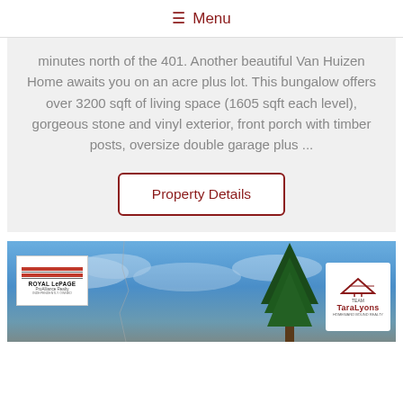≡ Menu
minutes north of the 401. Another beautiful Van Huizen Home awaits you on an acre plus lot. This bungalow offers over 3200 sqft of living space (1605 sqft each level), gorgeous stone and vinyl exterior, front porch with timber posts, oversize double garage plus ...
Property Details
[Figure (photo): Outdoor photo showing blue sky with clouds, an evergreen tree, a Royal LePage ProAlliance Realty sign, and a Team TaraLyons real estate sign.]